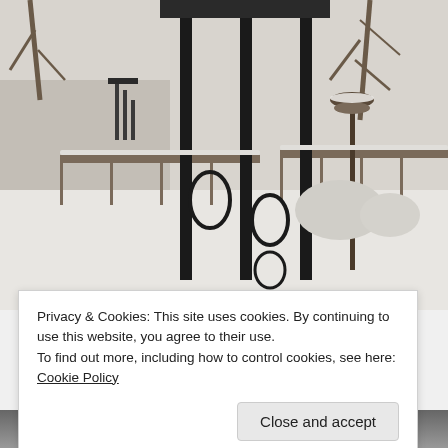[Figure (photo): Black and white photo of a snowy backyard scene viewed through decorative wrought iron railings/gate. Wind chimes hang on the left, a bird feeder on a pole is visible in the middle-right area, snow-covered fences, bushes, and a house in the background.]
Privacy & Cookies: This site uses cookies. By continuing to use this website, you agree to their use.
To find out more, including how to control cookies, see here: Cookie Policy
[Figure (photo): Partial bottom strip showing another black and white photo, mostly obscured.]